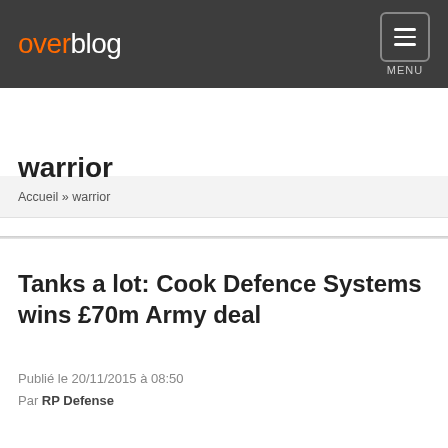overblog MENU
Accueil » warrior
warrior
Tanks a lot: Cook Defence Systems wins £70m Army deal
Publié le 20/11/2015 à 08:50
Par RP Defense